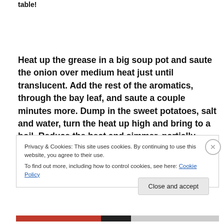table!
Heat up the grease in a big soup pot and saute the onion over medium heat just until translucent.  Add the rest of the aromatics, through the bay leaf, and saute a couple minutes more.  Dump in the sweet potatoes, salt and water, turn the heat up high and bring to a boil.  Reduce the heat and simmer, partially
Privacy & Cookies: This site uses cookies. By continuing to use this website, you agree to their use.
To find out more, including how to control cookies, see here: Cookie Policy
Close and accept